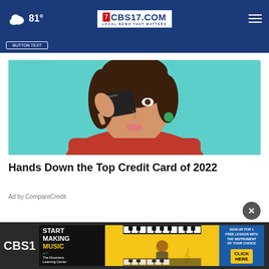81° CBS17.COM LOCAL NEWS THAT MATTERS
[Figure (photo): Woman in red sweater holding a dark credit card up to cover one eye, against a teal/mint background]
Hands Down the Top Credit Card of 2022
Ad by CompareCredit
[Figure (screenshot): Advertisement banner for The Musicians Learning Center: Start Making Music - Sign up for 1 free lesson with the instrument of your choice. Click Here button. Shows piano keys and musician imagery.]